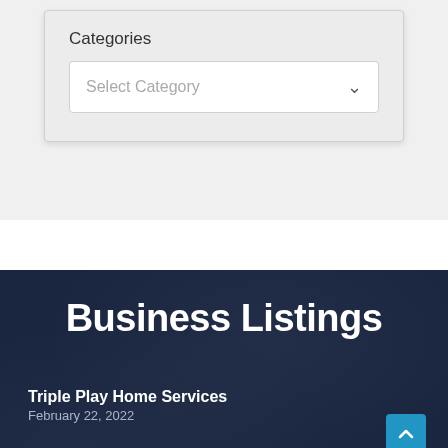Categories
Select Category
Business Listings
Triple Play Home Services
February 22, 2022
Augusta Tree Removal